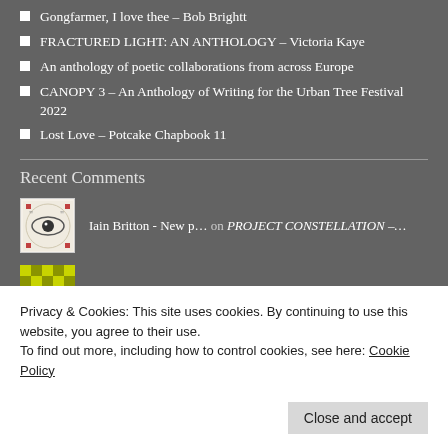Gongfarmer, I love thee – Bob Brightt
FRACTURED LIGHT: AN ANTHOLOGY – Victoria Kaye
An anthology of poetic collaborations from across Europe
CANOPY 3 – An Anthology of Writing for the Urban Tree Festival 2022
Lost Love – Potcake Chapbook 11
Recent Comments
Iain Britton - New p… on PROJECT CONSTELLATION –…
[Figure (illustration): Circular avatar with an eye illustration on cream/beige background with red dots in corners]
onelovestory2013 on 1930s Musicians of Crouch End…
[Figure (illustration): Yellow and dark green checkerboard pattern avatar]
Yvette Siegert on EVEN STILL – Sylee Gore
[Figure (photo): Dark photo avatar of a person]
Privacy & Cookies: This site uses cookies. By continuing to use this website, you agree to their use. To find out more, including how to control cookies, see here: Cookie Policy
Close and accept